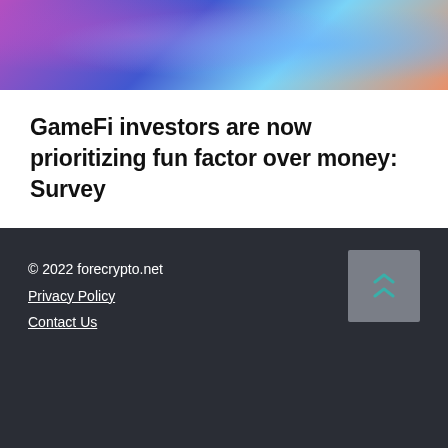[Figure (illustration): Colorful gaming/crypto illustration with blue and purple tones, showing stylized character with coins and gaming elements]
GameFi investors are now prioritizing fun factor over money: Survey
© 2022 forecrypto.net
Privacy Policy
Contact Us
[Figure (screenshot): Advertisement box: Search for | 01. Business Startup Checklist > | 02. Apply For Online Business Loan > | Yahoo! Search | Sponsored]